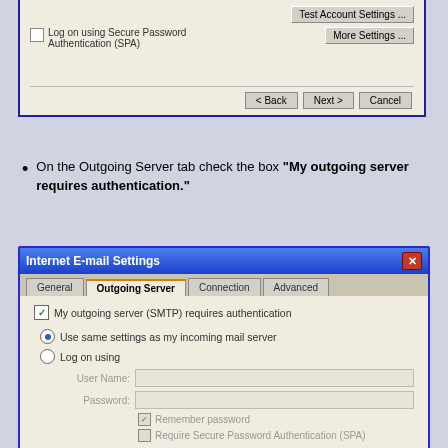[Figure (screenshot): Top portion of an email account settings dialog showing 'Remember password' checkbox, 'Test Account Settings' button, 'Log on using Secure Password Authentication (SPA)' checkbox, 'More Settings' button, and navigation buttons Back, Next, Cancel.]
On the Outgoing Server tab check the box "My outgoing server requires authentication."
[Figure (screenshot): Internet E-mail Settings dialog showing the Outgoing Server tab selected with tabs: General, Outgoing Server, Connection, Advanced. Options: checked 'My outgoing server (SMTP) requires authentication', radio selected 'Use same settings as my incoming mail server', 'Log on using' radio with greyed User Name and Password fields, Remember password and Require Secure Password Authentication (SPA) checkboxes, and 'Log on to incoming mail server before sending mail' radio.]